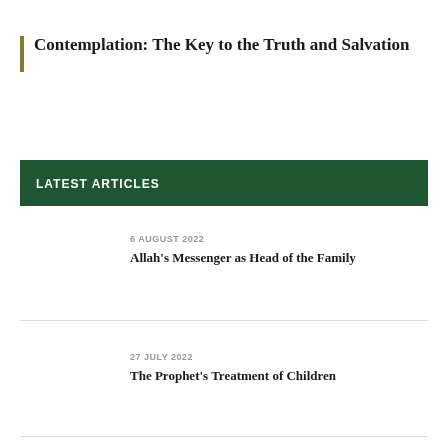Contemplation: The Key to the Truth and Salvation
LATEST ARTICLES
6 AUGUST 2022
Allah's Messenger as Head of the Family
27 JULY 2022
The Prophet's Treatment of Children